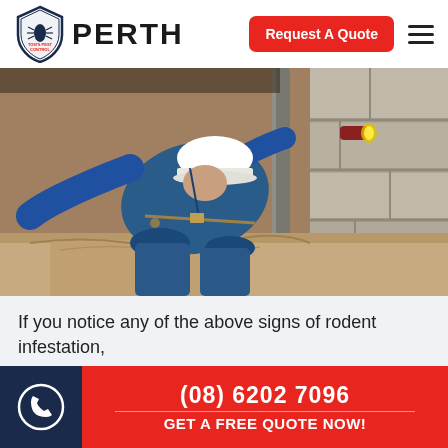[Figure (logo): Tom's Pest Control Perth logo with shield icon containing a cockroach, and the word PERTH in large bold letters]
Request A Quote
[Figure (photo): Pest control inspector in blue jacket and hard hat crawling under a building with a flashlight, inspecting a subfloor area near a concrete pier]
If you notice any of the above signs of rodent infestation,
(08) 6202 7096
GET A FREE QUOTE NOW!